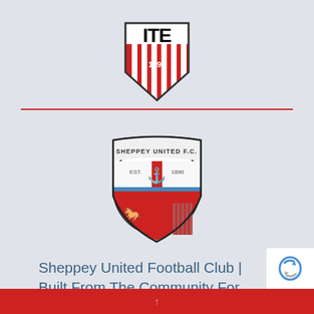[Figure (logo): ITE shield logo with red and white stripes and '1890' text, black border]
[Figure (logo): Sheppey United F.C. circular badge with EST. 1890, featuring a horse, castle tower, and anchor on red and white shield]
Sheppey United Football Club | Built From The Community For The Community Members of
↑